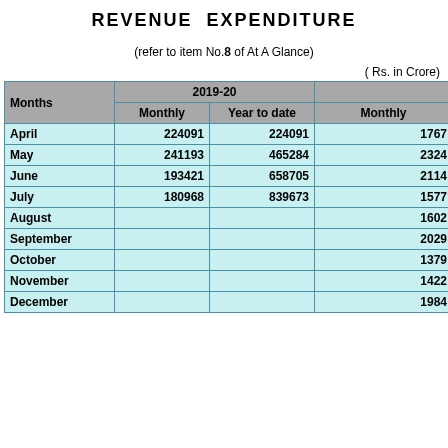REVENUE EXPENDITURE
(refer to item No.8 of At A Glance)
( Rs. in Crore)
| Months | 2019-20 Monthly | 2019-20 Year to date | Monthly |
| --- | --- | --- | --- |
| April | 224091 | 224091 | 1767 |
| May | 241193 | 465284 | 2324 |
| June | 193421 | 658705 | 2114 |
| July | 180968 | 839673 | 1577 |
| August |  |  | 1602 |
| September |  |  | 2029 |
| October |  |  | 1379 |
| November |  |  | 1422 |
| December |  |  | 1984 |